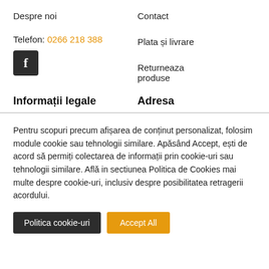Despre noi
Contact
Telefon: 0266 218 388
[Figure (logo): Facebook logo icon - dark square with white 'f' letter]
Plata și livrare
Returneaza produse
Informații legale
Adresa
Pentru scopuri precum afișarea de conținut personalizat, folosim module cookie sau tehnologii similare. Apăsând Accept, ești de acord să permiți colectarea de informații prin cookie-uri sau tehnologii similare. Află in sectiunea Politica de Cookies mai multe despre cookie-uri, inclusiv despre posibilitatea retragerii acordului.
Politica cookie-uri
Accept All